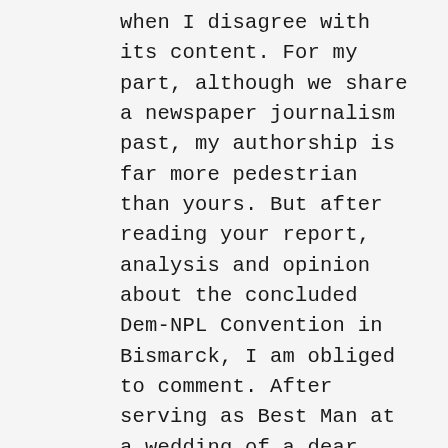when I disagree with its content. For my part, although we share a newspaper journalism past, my authorship is far more pedestrian than yours. But after reading your report, analysis and opinion about the concluded Dem-NPL Convention in Bismarck, I am obliged to comment. After serving as Best Man at a wedding of a dear friend and lawyer colleague in Florida Thursday evening, I probably could have hustled to get to Bismarck for the final day and a half of the convention, and then flown straight to New York City for commitments there. I intentionally did not do so, however, and thus I missed my first Dem-NPL Convention since 1980. You and I were both part of the vibrant and exiting 1984 Dem-NPL campaign which led to a broad resurgence for the party. George “Bud” Sinner began a two-year run as Governor, with